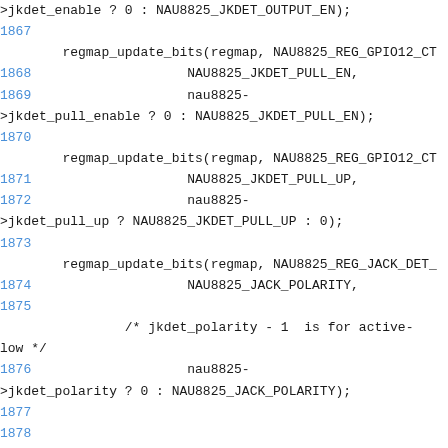Code listing lines 1867-1880, C source code with regmap_update_bits calls for NAU8825 audio codec driver configuration of jack detection settings.